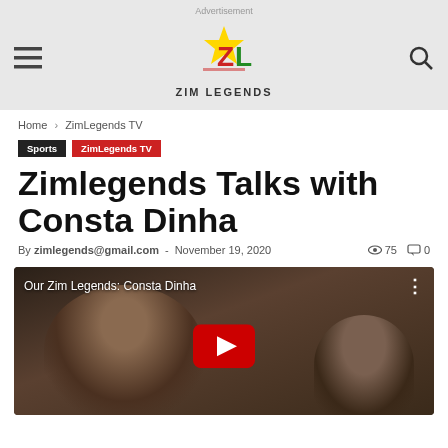Advertisement | ZIM LEGENDS
Home › ZimLegends TV
Sports
ZimLegends TV
Zimlegends Talks with Consta Dinha
By zimlegends@gmail.com - November 19, 2020  75  0
[Figure (screenshot): YouTube video thumbnail showing 'Our Zim Legends: Consta Dinha' with a man's face and a red YouTube play button overlay]